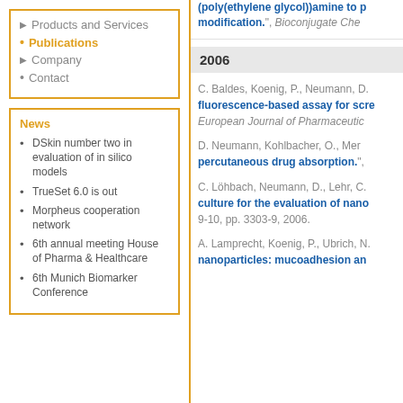Products and Services
Publications
Company
Contact
News
DSkin number two in evaluation of in silico models
TrueSet 6.0 is out
Morpheus cooperation network
6th annual meeting House of Pharma & Healthcare
6th Munich Biomarker Conference
(poly(ethylene glycol))amine to p modification.", Bioconjugate Che
2006
C. Baldes, Koenig, P., Neumann, D. fluorescence-based assay for scre European Journal of Pharmaceutic
D. Neumann, Kohlbacher, O., Mer percutaneous drug absorption.",
C. Löhbach, Neumann, D., Lehr, C. culture for the evaluation of nano 9-10, pp. 3303-9, 2006.
A. Lamprecht, Koenig, P., Ubrich, N. nanoparticles: mucoadhesion an